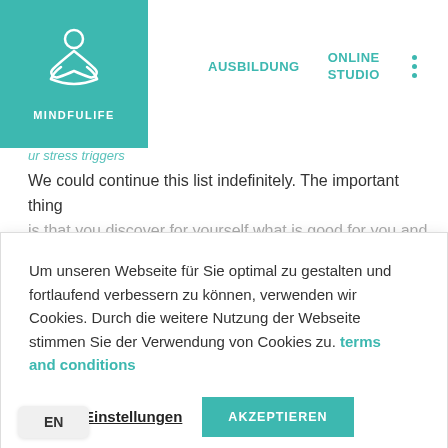MINDFULIFE | AUSBILDUNG | ONLINE STUDIO
ur stress triggers
We could continue this list indefinitely. The important thing is that you discover for yourself what is good for you and
Um unseren Webseite für Sie optimal zu gestalten und fortlaufend verbessern zu können, verwenden wir Cookies. Durch die weitere Nutzung der Webseite stimmen Sie der Verwendung von Cookies zu. terms and conditions
Cookie-Einstellungen
AKZEPTIEREN
Bewusst Wohlbefinden Steigern Durch Achtsamkeitsmeditation
Wie Du Dein Immunsystem Mit Meditation Stärken kannst
Vitamin Detox - 6 Wichtige Fragen Einfach